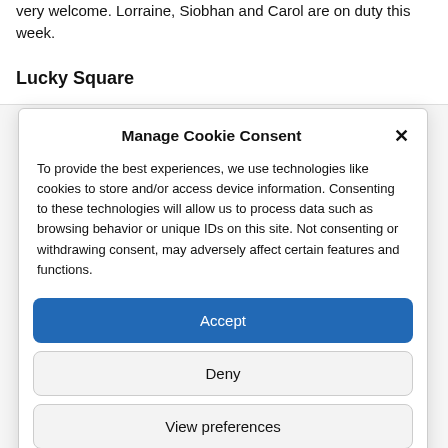very welcome. Lorraine, Siobhan and Carol are on duty this week.
Lucky Square
Manage Cookie Consent
To provide the best experiences, we use technologies like cookies to store and/or access device information. Consenting to these technologies will allow us to process data such as browsing behavior or unique IDs on this site. Not consenting or withdrawing consent, may adversely affect certain features and functions.
Accept
Deny
View preferences